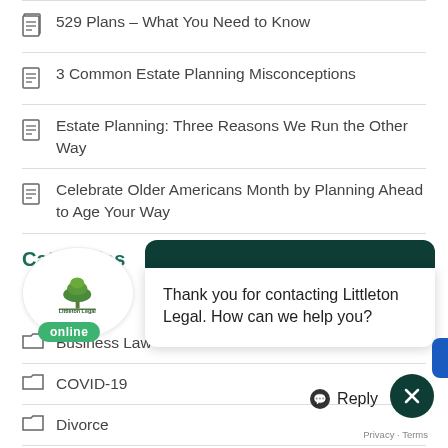529 Plans – What You Need to Know
3 Common Estate Planning Misconceptions
Estate Planning: Three Reasons We Run the Other Way
Celebrate Older Americans Month by Planning Ahead to Age Your Way
Categories
[Figure (logo): Littleton Legal logo badge with tree icon and 'online' green badge]
Thank you for contacting Littleton Legal. How can we help you?
Business Law
COVID-19
Divorce